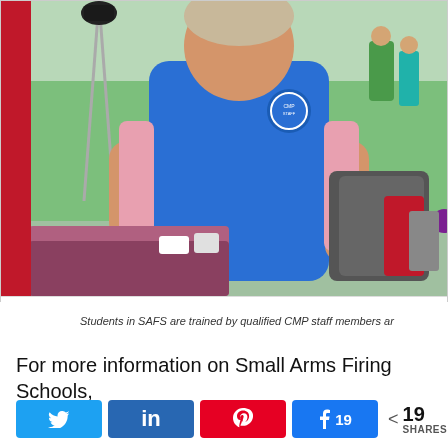[Figure (photo): A person wearing a blue CMP polo shirt standing outdoors at a shooting range event, with green grass background, a red bar on the left side of the image frame, and equipment/bags visible in the background.]
Students in SAFS are trained by qualified CMP staff members ar
For more information on Small Arms Firing Schools,
[Figure (infographic): Social share buttons: Twitter, LinkedIn, Pinterest, Facebook with 19 shares, and a total share count of 19 SHARES]